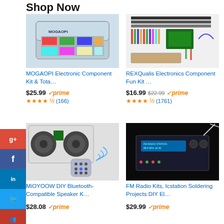Shop Now
[Figure (photo): MOGAOPI electronics component kit in a plastic storage case]
MOGAOPI Electronic Component Kit & Tota…
$25.99 prime ★★★★½ (166)
[Figure (photo): REXQualis electronics component fun kit with various components laid out]
REXQualis Electronics Component Fun Kit …
$16.99 $22.99 prime ★★★★½ (1761)
[Figure (photo): MiOYOOW DIY Bluetooth-compatible speaker kit with remote control]
MiOYOOW DIY Bluetooth-Compatible Speaker K…
$28.08 prime
[Figure (photo): FM Radio kit by Icstation, a DIY soldering project in acrylic case]
FM Radio Kits, Icstation Soldering Projects DIY El…
$29.99 prime